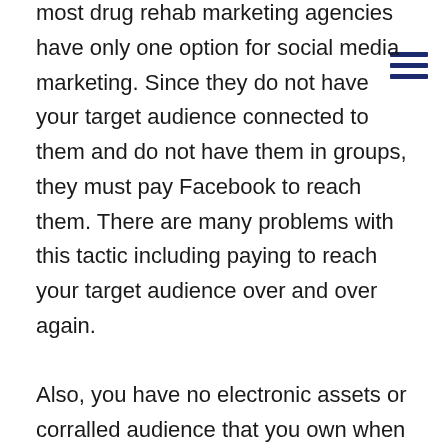most drug rehab marketing agencies have only one option for social media marketing. Since they do not have your target audience connected to them and do not have them in groups, they must pay Facebook to reach them. There are many problems with this tactic including paying to reach your target audience over and over again.

Also, you have no electronic assets or corralled audience that you own when you sever your relationship with the marketing agency. It is a better business decision to get your staff trained on how to maximize social media and let them run your social media. A good drug rehab marketing agency will offer this service. This way you build and own the target audience. Behavioral Health Network Resources provides social media training. We educate our clients on